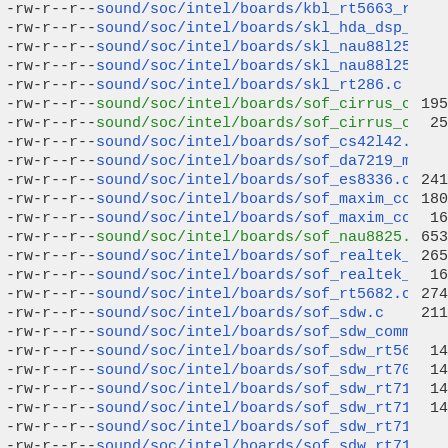-rw-r--r-- sound/soc/intel/boards/kbl_rt5663_rt5514_max98927.c
-rw-r--r-- sound/soc/intel/boards/skl_hda_dsp_common.c
-rw-r--r-- sound/soc/intel/boards/skl_nau88l25_max98357a.c
-rw-r--r-- sound/soc/intel/boards/skl_nau88l25_ssm4567.c
-rw-r--r-- sound/soc/intel/boards/skl_rt286.c
-rw-r--r-- sound/soc/intel/boards/sof_cirrus_common.c 195
-rw-r--r-- sound/soc/intel/boards/sof_cirrus_common.h 25
-rw-r--r-- sound/soc/intel/boards/sof_cs42l42.c
-rw-r--r-- sound/soc/intel/boards/sof_da7219_max98373.c
-rw-r--r-- sound/soc/intel/boards/sof_es8336.c 241
-rw-r--r-- sound/soc/intel/boards/sof_maxim_common.c 180
-rw-r--r-- sound/soc/intel/boards/sof_maxim_common.h 16
-rw-r--r-- sound/soc/intel/boards/sof_nau8825.c 653
-rw-r--r-- sound/soc/intel/boards/sof_realtek_common.c 265
-rw-r--r-- sound/soc/intel/boards/sof_realtek_common.h 16
-rw-r--r-- sound/soc/intel/boards/sof_rt5682.c 274
-rw-r--r-- sound/soc/intel/boards/sof_sdw.c 211
-rw-r--r-- sound/soc/intel/boards/sof_sdw_common.h
-rw-r--r-- sound/soc/intel/boards/sof_sdw_rt5682.c 14
-rw-r--r-- sound/soc/intel/boards/sof_sdw_rt700.c 14
-rw-r--r-- sound/soc/intel/boards/sof_sdw_rt711.c 14
-rw-r--r-- sound/soc/intel/boards/sof_sdw_rt711_sdca.c 14
-rw-r--r-- sound/soc/intel/boards/sof_sdw_rt715.c
-rw-r--r-- sound/soc/intel/boards/sof_sdw_rt715_sdca.c